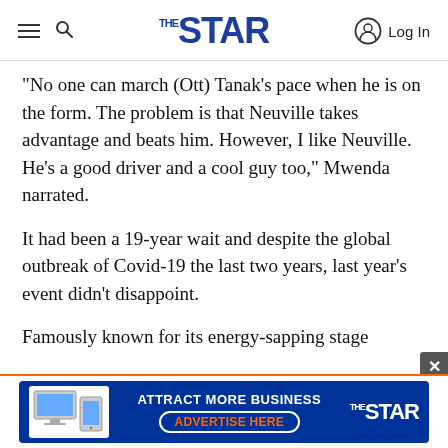THE STAR — Log In
“No one can march (Ott) Tanak’s pace when he is on the form. The problem is that Neuville takes advantage and beats him. However, I like Neuville. He’s a good driver and a cool guy too,” Mwenda narrated.
It had been a 19-year wait and despite the global outbreak of Covid-19 the last two years, last year’s event didn’t disappoint.
Famously known for its energy-sapping stage
[Figure (screenshot): Advertisement banner for The Star newspaper. Blue background with text ATTRACT MORE BUSINESS and ADVERTISE HERE button in orange text, alongside a device mockup image and The Star logo.]